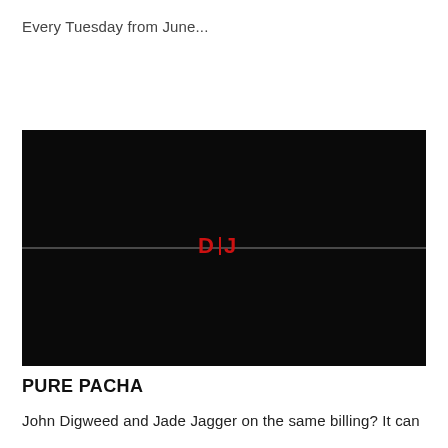Every Tuesday from June...
[Figure (logo): Black rectangular image block with a horizontal grey divider line and a red DJ Mag logo centered on the line]
PURE PACHA
John Digweed and Jade Jagger on the same billing? It can